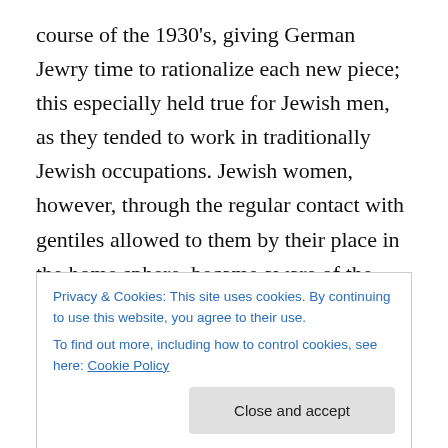course of the 1930's, giving German Jewry time to rationalize each new piece; this especially held true for Jewish men, as they tended to work in traditionally Jewish occupations. Jewish women, however, through the regular contact with gentiles allowed to them by their place in the home sphere, became aware of the “social death” being imposed on them by Nazi legislation long before their husbands took notice.
In the wake of the mass arrests of Jewish men during Kristallnacht, it fell to these women to free their husbands
Privacy & Cookies: This site uses cookies. By continuing to use this website, you agree to their use.
To find out more, including how to control cookies, see here: Cookie Policy
Close and accept
they then. By continuing to use this website, you agree to their use.